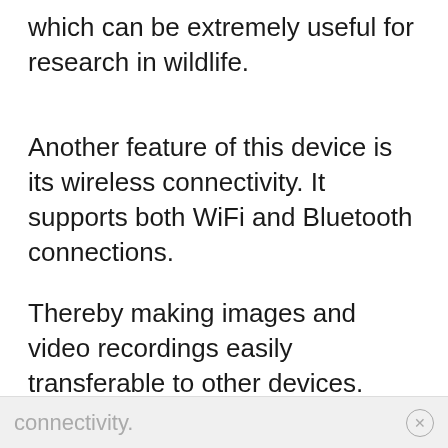which can be extremely useful for research in wildlife.
Another feature of this device is its wireless connectivity. It supports both WiFi and Bluetooth connections.
Thereby making images and video recordings easily transferable to other devices. Unfortunately, some users reported having difficulty with its
connectivity.